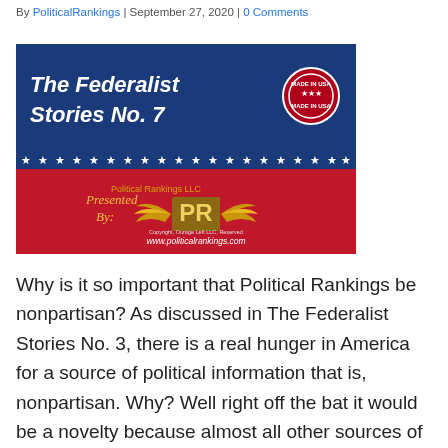By PoliticalRankings | September 27, 2020 | 0 Comments
[Figure (illustration): The Federalist Stories No. 7 banner image showing blue and red background with stars, Political Rankings LLC logo with golden wings and PR letters, text 'Presented By:' and website www.politicalrankings.com, with 'Made in USA' badge.]
Why is it so important that Political Rankings be nonpartisan? As discussed in The Federalist Stories No. 3, there is a real hunger in America for a source of political information that is, nonpartisan. Why? Well right off the bat it would be a novelty because almost all other sources of political